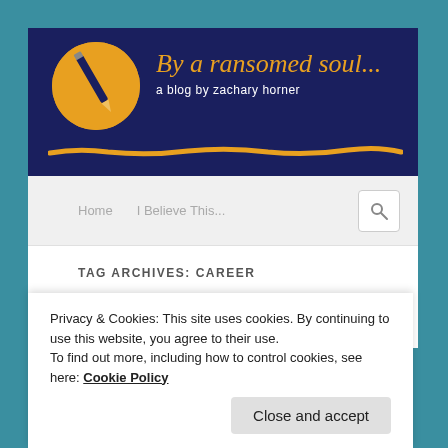[Figure (logo): Blog header banner with dark navy background, orange circle with pencil graphic on left, cursive orange title 'By a ransomed soul...' and subtitle 'a blog by zachary horner', with orange brushstroke underline]
Home    I Believe This...
TAG ARCHIVES: CAREER
Privacy & Cookies: This site uses cookies. By continuing to use this website, you agree to their use.
To find out more, including how to control cookies, see here: Cookie Policy
Close and accept
Back when I arrived at Elon before my freshman year of